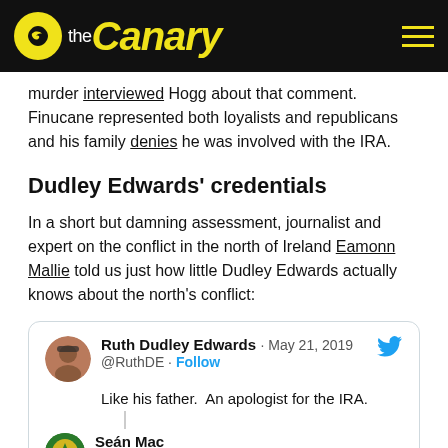theCanary
murder interviewed Hogg about that comment. Finucane represented both loyalists and republicans and his family denies he was involved with the IRA.
Dudley Edwards' credentials
In a short but damning assessment, journalist and expert on the conflict in the north of Ireland Eamonn Mallie told us just how little Dudley Edwards actually knows about the north's conflict:
Ruth Dudley Edwards · May 21, 2019 @RuthDE · Follow
Like his father.  An apologist for the IRA.

Seán Mac
@SeanTY78 · Follow
I have this saved in Bookmarks. Easy to